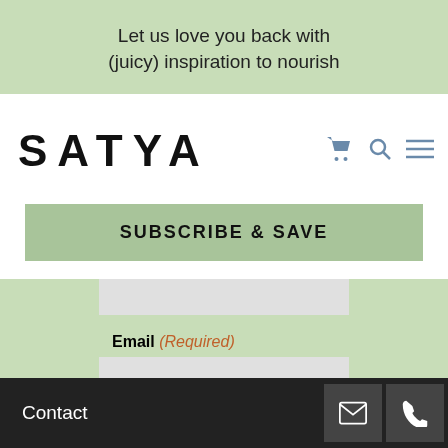Let us love you back with (juicy) inspiration to nourish
[Figure (logo): SATYA brand logo with shopping cart, search, and menu icons]
SUBSCRIBE & SAVE
Email (Required)
Contact